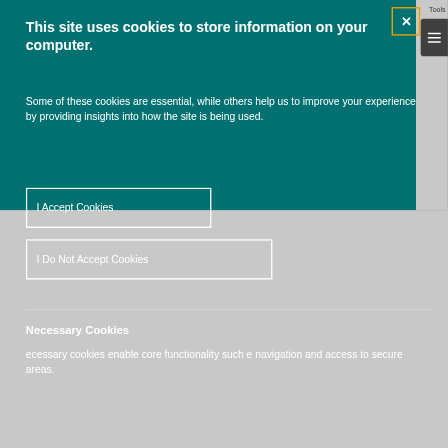This site uses cookies to store information on your computer.
Some of these cookies are essential, while others help us to improve your experience by providing insights into how the site is being used.
I Accept Cookies
I Do Not Accept Cookies
Necessary Cookies
ecessary cookies enable core functionality such e navigation and access to secure areas.